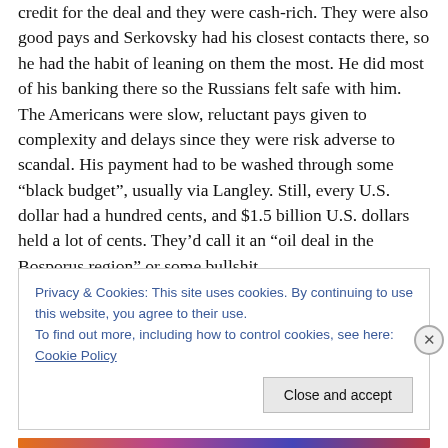credit for the deal and they were cash-rich. They were also good pays and Serkovsky had his closest contacts there, so he had the habit of leaning on them the most. He did most of his banking there so the Russians felt safe with him. The Americans were slow, reluctant pays given to complexity and delays since they were risk adverse to scandal. His payment had to be washed through some “black budget”, usually via Langley. Still, every U.S. dollar had a hundred cents, and $1.5 billion U.S. dollars held a lot of cents. They’d call it an “oil deal in the Bosporus region” or some bullshit.
Privacy & Cookies: This site uses cookies. By continuing to use this website, you agree to their use.
To find out more, including how to control cookies, see here: Cookie Policy